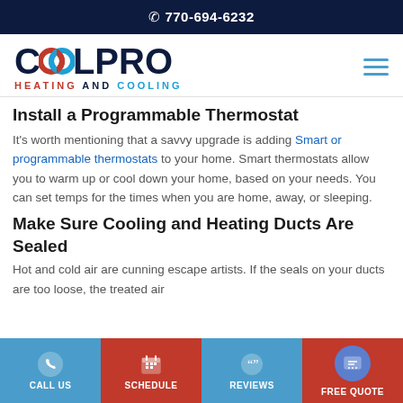770-694-6232
[Figure (logo): CoolPro Heating and Cooling logo with interlocked red and blue rings]
Install a Programmable Thermostat
It's worth mentioning that a savvy upgrade is adding Smart or programmable thermostats to your home. Smart thermostats allow you to warm up or cool down your home, based on your needs. You can set temps for the times when you are home, away, or sleeping.
Make Sure Cooling and Heating Ducts Are Sealed
Hot and cold air are cunning escape artists. If the seals on your ducts are too loose, the treated air
CALL US | SCHEDULE | REVIEWS | FREE QUOTE